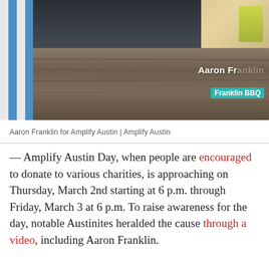[Figure (photo): Photo of Aaron Franklin sitting at a wooden picnic table outdoors, with blue and white stripes in background. Overlay text reads 'Aaron Fr...' and 'Franklin BBQ' in teal label.]
Aaron Franklin for Amplify Austin | Amplify Austin
— Amplify Austin Day, when people are encouraged to donate to various charities, is approaching on Thursday, March 2nd starting at 6 p.m. through Friday, March 3 at 6 p.m. To raise awareness for the day, notable Austinites heralded the cause through a video, including Aaron Franklin.